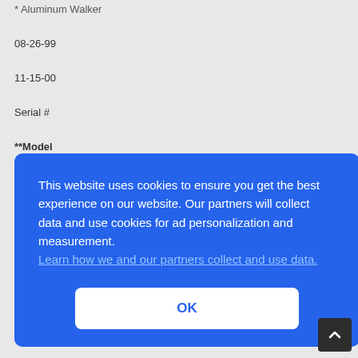* Aluminum Walker
08-26-99
11-15-00
Serial #
**Model
* Brand
This website uses cookies to ensure you get the best experience on our website. Our partners will collect data and use cookies for ad personalization and measurement. Learn how we and our partners collect and use data.
OK